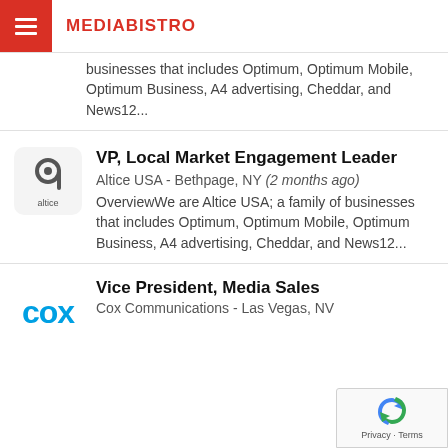MEDIABISTRO
businesses that includes Optimum, Optimum Mobile, Optimum Business, A4 advertising, Cheddar, and News12...
VP, Local Market Engagement Leader
Altice USA - Bethpage, NY (2 months ago)
OverviewWe are Altice USA; a family of businesses that includes Optimum, Optimum Mobile, Optimum Business, A4 advertising, Cheddar, and News12...
Vice President, Media Sales
Cox Communications - Las Vegas, NV